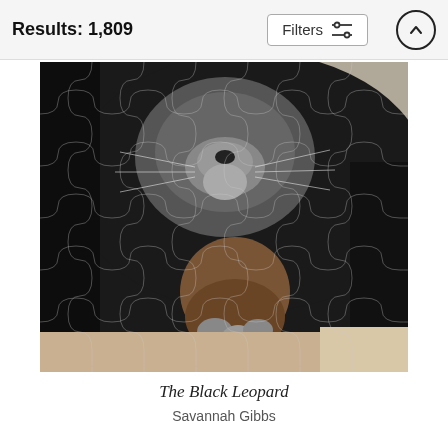Results: 1,809
[Figure (screenshot): Filters button with sliders icon and up-arrow circle button in header bar]
[Figure (photo): A black leopard resting, its face and paw visible, overlaid with a jigsaw puzzle piece pattern]
The Black Leopard
Savannah Gibbs